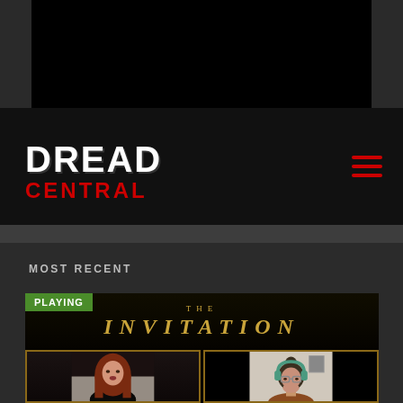[Figure (screenshot): Top black video/media area with dark side borders]
[Figure (logo): Dread Central logo - DREAD in white distressed font, CENTRAL in red below, on black navigation bar with red hamburger menu icon on right]
MOST RECENT
[Figure (screenshot): Video player showing 'The Invitation' movie. A PLAYING badge in green top-left. Title 'THE INVITATION' in gold on dark background. Below: split-screen video call with two people - left person has long red hair, right person wears teal headphones and glasses.]